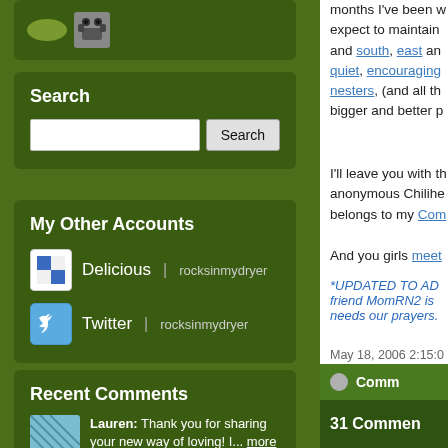[Figure (screenshot): Avatar/icon area with green ellipse and dog avatar icons]
Search
[Figure (screenshot): Search input box and Search button]
My Other Accounts
Delicious | rocksinmydryer
Twitter | rocksinmydryer
Recent Comments
Lauren: Thank you for sharing your new way of loving! I... more »
ON NOTHING DOING
months I've been w... expect to maintain and south, east an quiet, encouraging nesters, (and all th bigger and better p
I'll leave you with th anonymous Chilihe belongs to my Com
And you girls meet
*UPDATED TO AD friend MomRN2 is needs our prayers.
May 18, 2006 2:15:0
Comm
31 Commen